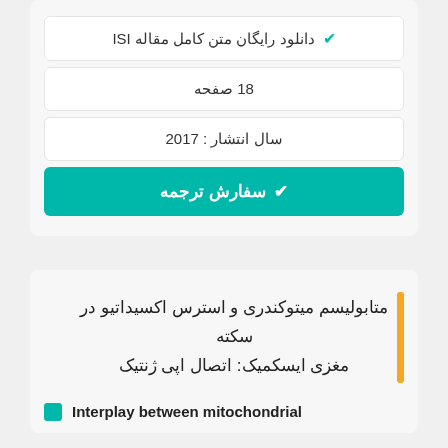✔ دانلود رایگان متن کامل مقاله ISI
18 صفحه
سال انتشار : 2017
✔ سفارش ترجمه
متابولیسم میتوکندری و استرس اکسیداتیو در سکته مغزی ایسکمیک: اتصال اپی ژنتیک
Interplay between mitochondrial